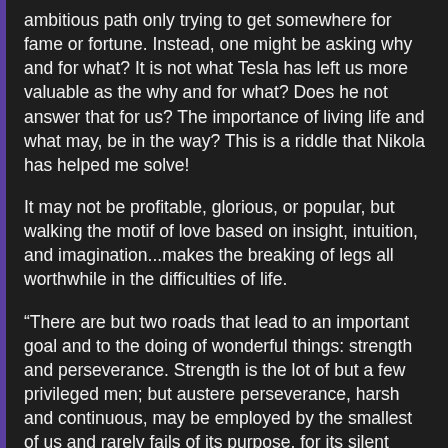ambitious path only trying to get somewhere for fame or fortune. Instead, one might be asking why and for what? It is not what Tesla has left us more valuable as the why and for what? Does he not answer that for us? The importance of living life and what may, be in the way? This is a riddle that Nikola has helped me solve!
It may not be profitable, glorious, or popular, but walking the motif of love based on insight, intuition, and imagination...makes the breaking of legs all worthwhile in the difficulties of life.
“There are but two roads that lead to an important goal and to the doing of wonderful things: strength and perseverance. Strength is the lot of but a few privileged men; but austere perseverance, harsh and continuous, may be employed by the smallest of us and rarely fails of its purpose, for its silent power grows irresistibly greater with time.”— Johann Wolfgang von Goethe, Faust: